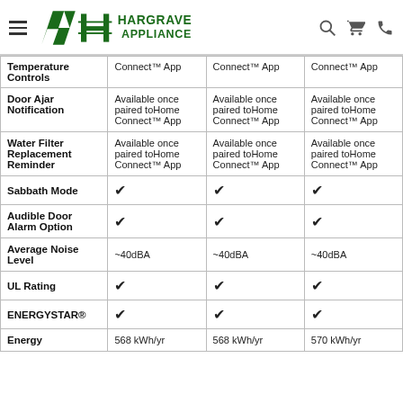Hargrave Appliance
| Feature | Model 1 | Model 2 | Model 3 |
| --- | --- | --- | --- |
| Temperature Controls | Connect™ App | Connect™ App | Connect™ App |
| Door Ajar Notification | Available once paired toHome Connect™ App | Available once paired toHome Connect™ App | Available once paired toHome Connect™ App |
| Water Filter Replacement Reminder | Available once paired toHome Connect™ App | Available once paired toHome Connect™ App | Available once paired toHome Connect™ App |
| Sabbath Mode | ✔ | ✔ | ✔ |
| Audible Door Alarm Option | ✔ | ✔ | ✔ |
| Average Noise Level | ~40dBA | ~40dBA | ~40dBA |
| UL Rating | ✔ | ✔ | ✔ |
| ENERGYSTAR® | ✔ | ✔ | ✔ |
| Energy | 568 kWh/yr | 568 kWh/yr | 570 kWh/yr |